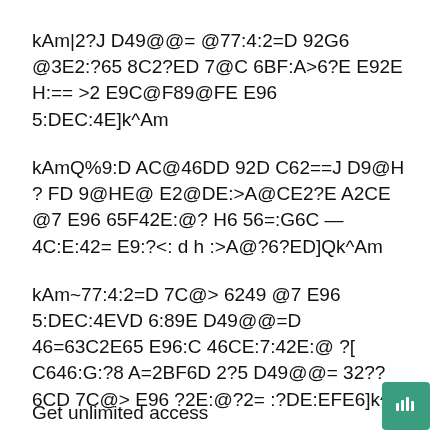kAm|2?J D49@@= @77:4:2=D 92G6 @3E2:?65 8C2?ED 7@C 6BF:A>6?E E92E H:== >2 E9C@F89@FE E96 5:DEC:4E]k^Am
kAmQ%9:D AC@46DD 92D C62==J D9@H ? FD 9@HE@ E2@DE:>A@CE2?E A2CE @7 E96 65F42E:@? H6 56=:G6C — 4C:E:42= E9:?<: d h :>A@?6?ED]Qk^Am
kAm~77:4:2=D 7C@> 6249 @7 E96 5:DEC:4EVD 6:89E D49@@=D 46=63C2E65 E96:C 46CE:7:42E:@ ?[ C646:G:?8 A=2BF6D 2?5 D49@@= 32??6CD 7C@> E96 ?2E:@?2= :?DE:EFE6]k^am
Get unlimited access